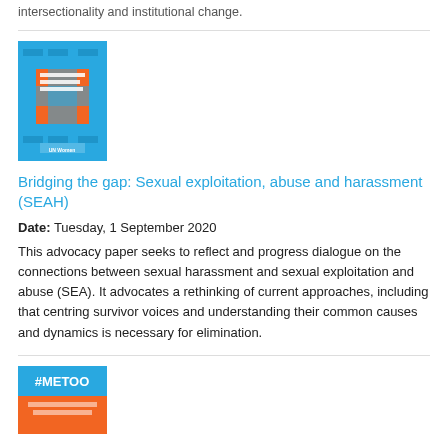intersectionality and institutional change.
[Figure (illustration): Book cover for 'Bridging the gap: Sexual exploitation, abuse and harassment (SEAH)' — blue and orange design with UN Women logo]
Bridging the gap: Sexual exploitation, abuse and harassment (SEAH)
Date: Tuesday, 1 September 2020
This advocacy paper seeks to reflect and progress dialogue on the connections between sexual harassment and sexual exploitation and abuse (SEA). It advocates a rethinking of current approaches, including that centring survivor voices and understanding their common causes and dynamics is necessary for elimination.
[Figure (illustration): Book cover showing '#METOO' text with orange and blue design — partial view at bottom of page]